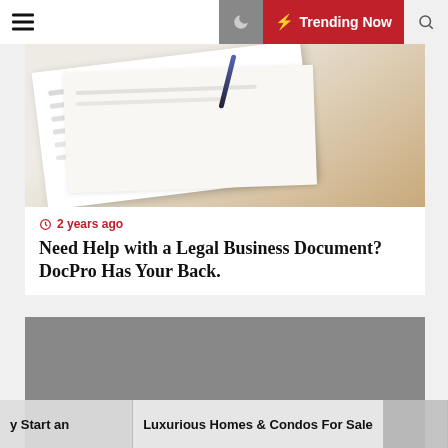≡  ☽  ⚡ Trending Now  🔍
[Figure (photo): A legal document on a wooden desk with a pen resting on top, white paper with handwritten or typed text visible]
⏱ 2 years ago
Need Help with a Legal Business Document? DocPro Has Your Back.
[Figure (photo): Grey placeholder image for a second article]
y Start an
Luxurious Homes & Condos For Sale